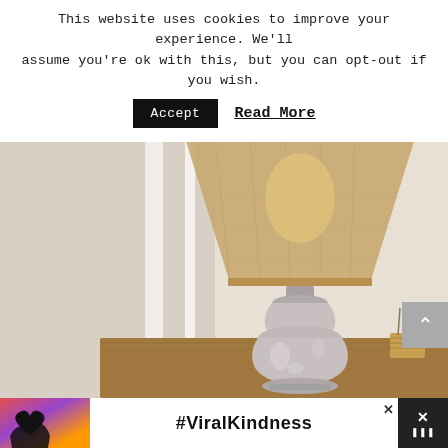This website uses cookies to improve your experience. We'll assume you're ok with this, but you can opt-out if you wish.
Accept   Read More
[Figure (photo): Two decorative table lamps with burlap shades on a wooden table. The lamps have metallic/silver bases. Background shows white window frames and greenery. A dark cup with pencils/matches and a small woven basket are also on the table.]
[Figure (infographic): Advertisement banner at bottom: dark left section with hands forming heart shape silhouette against colorful background, white center section with bold text #ViralKindness and a close X button, dark right section with X and stylized icon.]